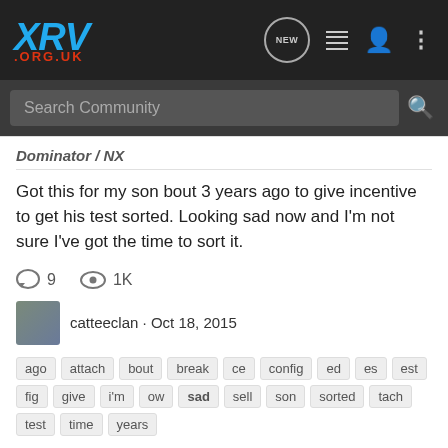XRV .ORG.UK — navigation bar with NEW, list, user, and menu icons
Search Community
Dominator / NX
Got this for my son bout 3 years ago to give incentive to get his test sorted. Looking sad now and I'm not sure I've got the time to sort it.
💬 9   👁 1K
catteeclan · Oct 18, 2015
ago  attach  bout  break  ce  config  ed  es  est  fig  give  i'm  ow  sad  sell  son  sorted  tach  test  time  years
Leaky rad
Transalp
Well my radiator has obviously been hit by a stone and I've